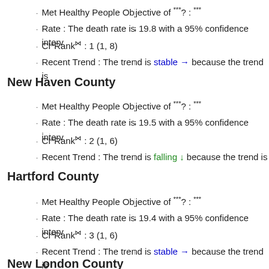Met Healthy People Objective of ***?: ***
Rate : The death rate is 19.8 with a 95% confidence interv
CI*Rank⋈ : 1 (1, 8)
Recent Trend : The trend is stable → because the trend is
New Haven County
Met Healthy People Objective of ***?: ***
Rate : The death rate is 19.5 with a 95% confidence interv
CI*Rank⋈ : 2 (1, 6)
Recent Trend : The trend is falling ↓ because the trend is
Hartford County
Met Healthy People Objective of ***?: ***
Rate : The death rate is 19.4 with a 95% confidence interv
CI*Rank⋈ : 3 (1, 6)
Recent Trend : The trend is stable → because the trend is
New London County